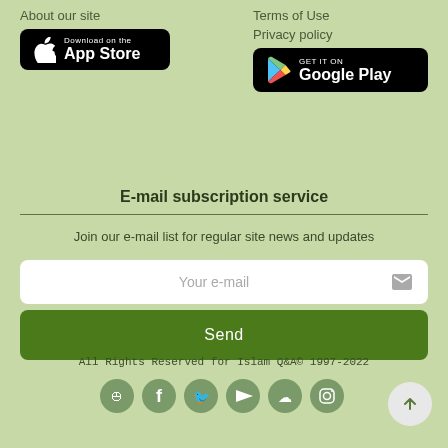About our site
[Figure (logo): Download on the App Store badge]
Terms of Use
Privacy policy
[Figure (logo): Get it on Google Play badge]
E-mail subscription service
Join our e-mail list for regular site news and updates
Your e-mail
Send
All Rights Reserved for Islam Q&A© 1997-2022
[Figure (illustration): Social media icons: RSS, Facebook, Twitter, YouTube, SoundCloud, Instagram]